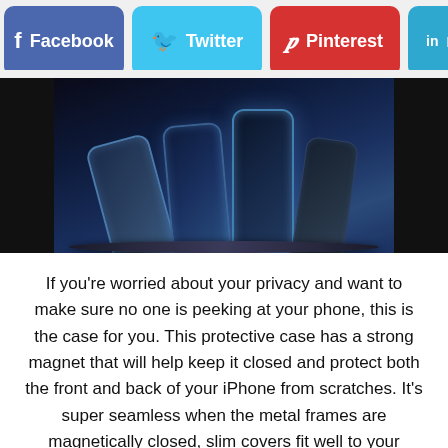[Figure (screenshot): Social media share buttons: Facebook (purple), Twitter (cyan), Pinterest (red), LinkedIn (blue, partially visible)]
[Figure (photo): Multiple dark blue smartphones standing upright on a reflective platform against a dark background]
If you're worried about your privacy and want to make sure no one is peeking at your phone, this is the case for you. This protective case has a strong magnet that will help keep it closed and protect both the front and back of your iPhone from scratches. It's super seamless when the metal frames are magnetically closed, slim covers fit well to your device, and make it easy to access all ports, speakers, chargers, and phone